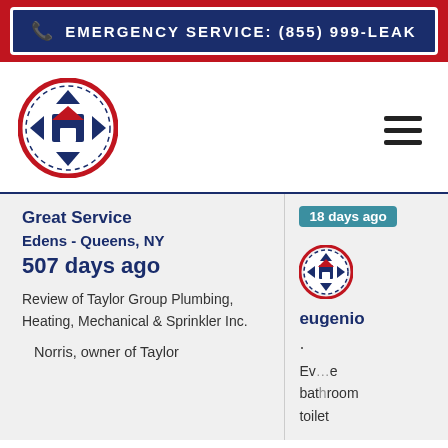EMERGENCY SERVICE: (855) 999-LEAK
[Figure (logo): Taylor Group Plumbing circular logo with house icon, red and blue colors]
Great Service
Edens - Queens, NY
507 days ago
Review of Taylor Group Plumbing, Heating, Mechanical & Sprinkler Inc.
Norris, owner of Taylor
18 days ago
[Figure (logo): Small circular user avatar icon]
eugenio
.
Ev... bathroom toilet